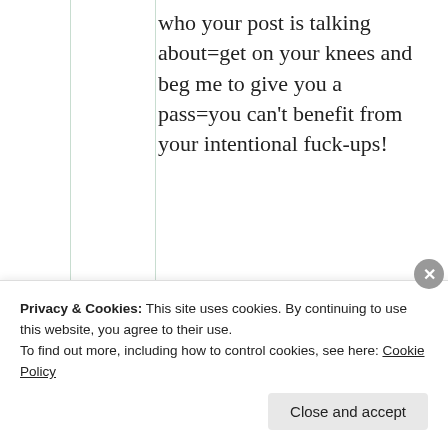who your post is talking about=get on your knees and beg me to give you a pass=you can't benefit from your intentional fuck-ups!
★ Like
[Figure (screenshot): Partial screenshot of a second blog post/comment block with a small avatar image visible at the bottom]
Privacy & Cookies: This site uses cookies. By continuing to use this website, you agree to their use. To find out more, including how to control cookies, see here: Cookie Policy
Close and accept